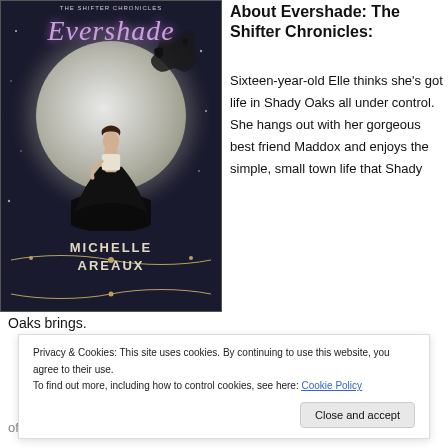[Figure (illustration): Book cover of 'Evershade' from The Shifter Chronicles by Michelle Areaux. Dark fantasy cover featuring a young woman in a flowing black gown standing in front of a large full moon, with a wolf silhouette at top right. Title in purple italic script, author name in bold white uppercase at bottom.]
About Evershade: The Shifter Chronicles:
Sixteen-year-old Elle thinks she's got life in Shady Oaks all under control. She hangs out with her gorgeous best friend Maddox and enjoys the simple, small town life that Shady
Oaks brings.
Privacy & Cookies: This site uses cookies. By continuing to use this website, you agree to their use.
To find out more, including how to control cookies, see here: Cookie Policy
Close and accept
of a secret that has plagued her family for centuries.